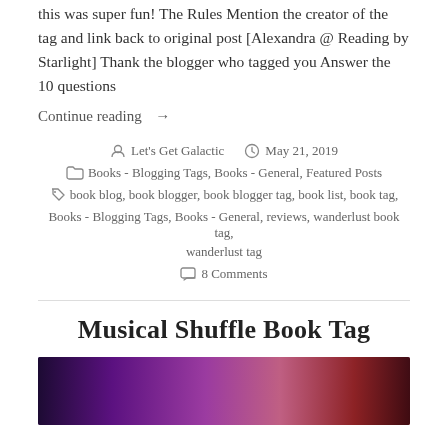this was super fun! The Rules Mention the creator of the tag and link back to original post [Alexandra @ Reading by Starlight] Thank the blogger who tagged you Answer the 10 questions
Continue reading →
Let's Get Galactic   May 21, 2019
Books - Blogging Tags, Books - General, Featured Posts
book blog, book blogger, book blogger tag, book list, book tag, Books - Blogging Tags, Books - General, reviews, wanderlust book tag, wanderlust tag
8 Comments
Musical Shuffle Book Tag
[Figure (photo): Thumbnail image showing stacked book spines with purple and dark tones, partially visible]